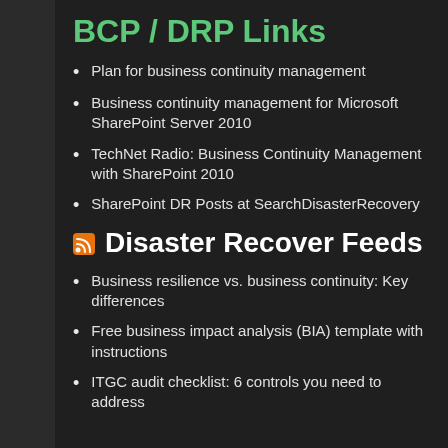BCP / DRP Links
Plan for business continuity management
Business continuity management for Microsoft SharePoint Server 2010
TechNet Radio: Business Continuity Management with SharePoint 2010
SharePoint DR Posts at SearchDisasterRecovery
Disaster Recover Feeds
Business resilience vs. business continuity: Key differences
Free business impact analysis (BIA) template with instructions
ITGC audit checklist: 6 controls you need to address